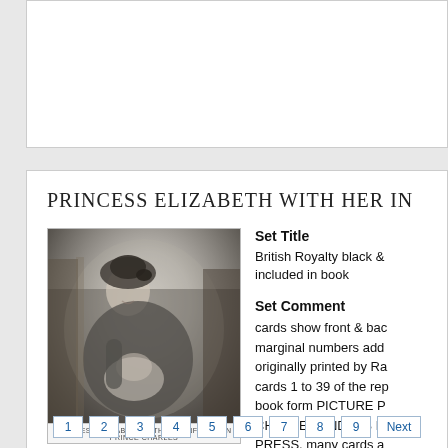PRINCESS ELIZABETH WITH HER IN...
[Figure (photo): Black and white photograph of Princess Elizabeth holding infant son Prince Charles, smiling at camera, wearing dark coat and hat. Caption reads: PRINCESS ELIZABETH WITH HER INFANT SON PRINCE CHARLES]
Set Title
British Royalty black & included in book
Set Comment
cards show front & bac marginal numbers add originally printed by Ra cards 1 to 39 of the rep book form PICTURE P CHARLES AND HIS FA PRESS, many cards a listed here, cards not i separately note: numbers listed ar
1  2  3  4  5  6  7  8  9  Next